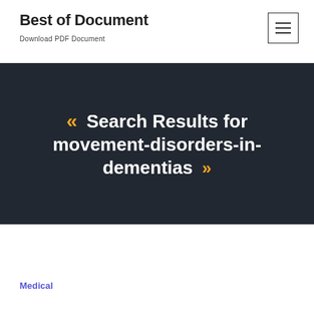Best of Document
Download PDF Document
[Figure (screenshot): Hamburger menu button icon in top right corner]
« Search Results for movement-disorders-in-dementias »
Medical